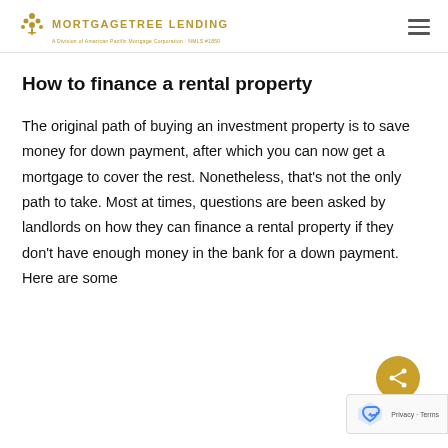MortgageTree Lending
How to finance a rental property
The original path of buying an investment property is to save money for down payment, after which you can now get a mortgage to cover the rest. Nonetheless, that’s not the only path to take. Most at times, questions are been asked by landlords on how they can finance a rental property if they don’t have enough money in the bank for a down payment. Here are some